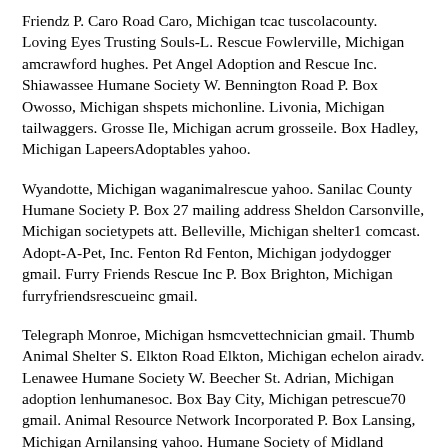Friendz P. Caro Road Caro, Michigan tcac tuscolacounty. Loving Eyes Trusting Souls-L. Rescue Fowlerville, Michigan amcrawford hughes. Pet Angel Adoption and Rescue Inc. Shiawassee Humane Society W. Bennington Road P. Box Owosso, Michigan shspets michonline. Livonia, Michigan tailwaggers. Grosse Ile, Michigan acrum grosseile. Box Hadley, Michigan LapeersAdoptables yahoo.
Wyandotte, Michigan waganimalrescue yahoo. Sanilac County Humane Society P. Box 27 mailing address Sheldon Carsonville, Michigan societypets att. Belleville, Michigan shelter1 comcast. Adopt-A-Pet, Inc. Fenton Rd Fenton, Michigan jodydogger gmail. Furry Friends Rescue Inc P. Box Brighton, Michigan furryfriendsrescueinc gmail.
Telegraph Monroe, Michigan hsmcvettechnician gmail. Thumb Animal Shelter S. Elkton Road Elkton, Michigan echelon airadv. Lenawee Humane Society W. Beecher St. Adrian, Michigan adoption lenhumanesoc. Box Bay City, Michigan petrescue70 gmail. Animal Resource Network Incorporated P. Box Lansing, Michigan Arnilansing yahoo. Humane Society of Midland County E. Ashman Midland, Michigan info hsomc. Gratiot County Animal Control W. Washington Road Ithaca, Michigan Eaton County Humane Society N. Main Street Olivet, Michigan adopt eatoncountyhumanesociety.